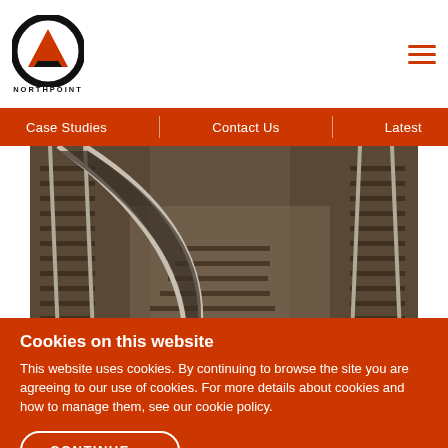[Figure (logo): Northpoint logo — circular black ring with orange arrow/mountain shape inside, text NORTHPOINT below]
Case Studies | Contact Us | Latest
[Figure (photo): Aerial view of railway track junction/switch with gravel ballast]
Cookies on this website
This website uses cookies. By continuing to browse the site you are agreeing to our use of cookies. For more details about cookies and how to manage them, see our cookie policy.
CONTINUE →